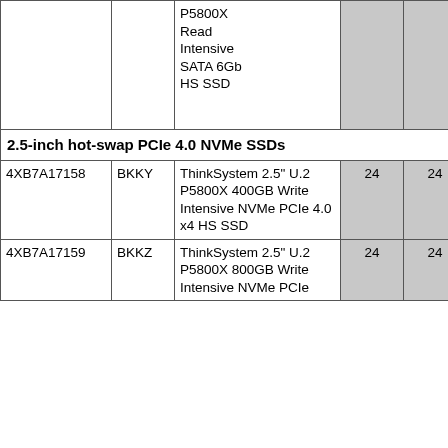|  |  |  |  |  |  |
| --- | --- | --- | --- | --- | --- |
|  |  | P5800X Read Intensive SATA 6Gb HS SSD |  |  |  |
| 2.5-inch hot-swap PCIe 4.0 NVMe SSDs |  |  |  |  |  |
| 4XB7A17158 | BKKY | ThinkSystem 2.5" U.2 P5800X 400GB Write Intensive NVMe PCIe 4.0 x4 HS SSD | 24 | 24 |  |
| 4XB7A17159 | BKKZ | ThinkSystem 2.5" U.2 P5800X 800GB Write Intensive NVMe PCIe | 24 | 24 |  |